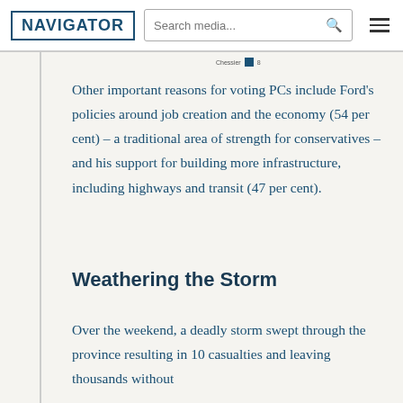NAVIGATOR | Search media...
Other important reasons for voting PCs include Ford's policies around job creation and the economy (54 per cent) – a traditional area of strength for conservatives – and his support for building more infrastructure, including highways and transit (47 per cent).
Weathering the Storm
Over the weekend, a deadly storm swept through the province resulting in 10 casualties and leaving thousands without